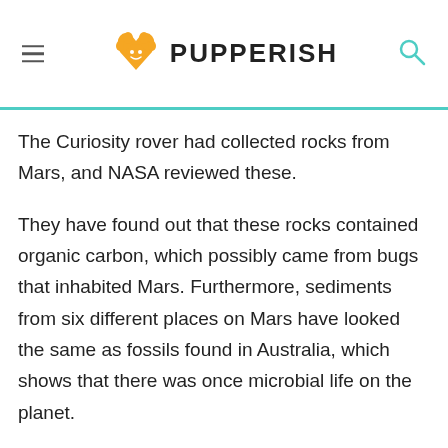PUPPERISH
The Curiosity rover had collected rocks from Mars, and NASA reviewed these.
They have found out that these rocks contained organic carbon, which possibly came from bugs that inhabited Mars. Furthermore, sediments from six different places on Mars have looked the same as fossils found in Australia, which shows that there was once microbial life on the planet.